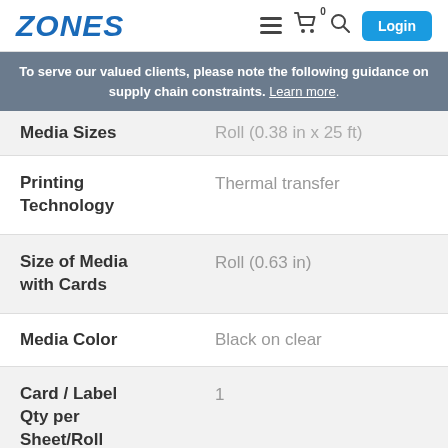ZONES | Login
To serve our valued clients, please note the following guidance on supply chain constraints. Learn more.
| Attribute | Value |
| --- | --- |
| Media Sizes | Roll (0.38 in x 25 ft) |
| Printing Technology | Thermal transfer |
| Size of Media with Cards | Roll (0.63 in) |
| Media Color | Black on clear |
| Card / Label Qty per Sheet/Roll | 1 |